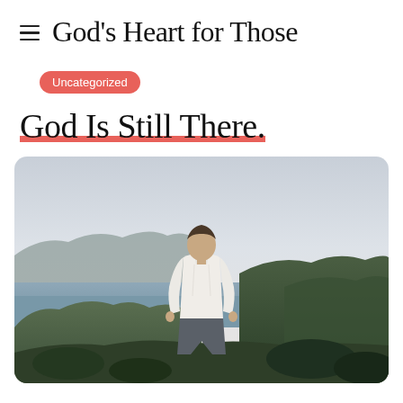God's Heart for Those
Uncategorized
God Is Still There.
[Figure (photo): A man seen from behind, wearing a white linen shirt, standing outdoors on a hillside overlooking a body of water with mountains in the background. The scene has a calm, contemplative mood with muted tones.]